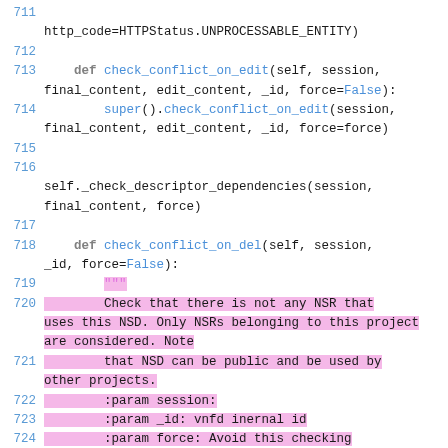Code listing lines 711-725 showing Python source code with syntax highlighting. Functions check_conflict_on_edit and check_conflict_on_del are shown. Lines 719-725 are highlighted in pink showing a docstring about checking NSR/NSD dependencies.